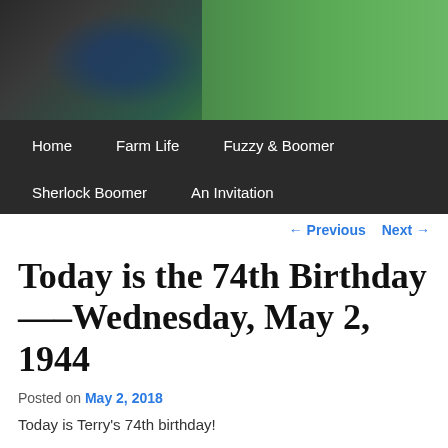[Figure (photo): Photo banner showing farm equipment and green grass in the background]
Home   Farm Life   Fuzzy & Boomer   Sherlock Boomer   An Invitation
← Previous   Next →
Today is the 74th Birthday—–Wednesday, May 2, 1944
Posted on May 2, 2018
Today is Terry's 74th birthday!